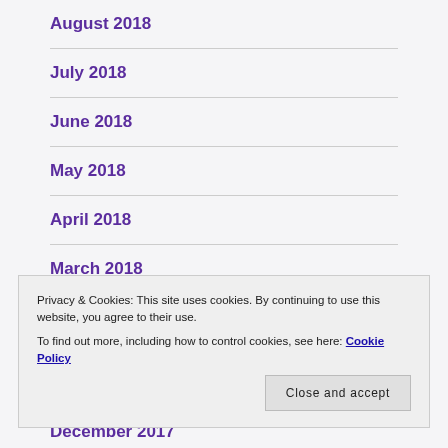August 2018
July 2018
June 2018
May 2018
April 2018
March 2018
Privacy & Cookies: This site uses cookies. By continuing to use this website, you agree to their use.
To find out more, including how to control cookies, see here: Cookie Policy
Close and accept
December 2017